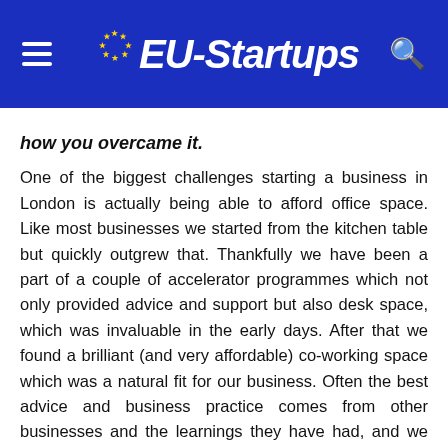EU-Startups
how you overcame it.
One of the biggest challenges starting a business in London is actually being able to afford office space. Like most businesses we started from the kitchen table but quickly outgrew that. Thankfully we have been a part of a couple of accelerator programmes which not only provided advice and support but also desk space, which was invaluable in the early days. After that we found a brilliant (and very affordable) co-working space which was a natural fit for our business. Often the best advice and business practice comes from other businesses and the learnings they have had, and we have many allies from our time in that co-working space!